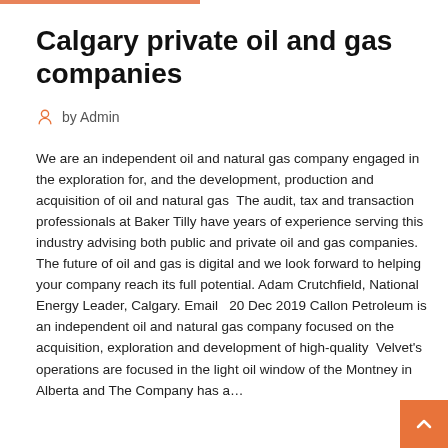Calgary private oil and gas companies
by Admin
We are an independent oil and natural gas company engaged in the exploration for, and the development, production and acquisition of oil and natural gas  The audit, tax and transaction professionals at Baker Tilly have years of experience serving this industry advising both public and private oil and gas companies.
The future of oil and gas is digital and we look forward to helping your company reach its full potential. Adam Crutchfield, National Energy Leader, Calgary. Email   20 Dec 2019 Callon Petroleum is an independent oil and natural gas company focused on the acquisition, exploration and development of high-quality  Velvet's operations are focused in the light oil window of the Montney in Alberta and The Company has a...